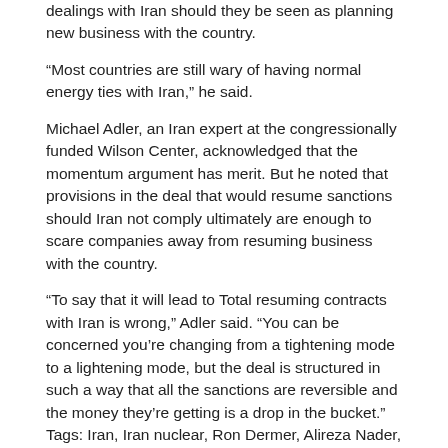dealings with Iran should they be seen as planning new business with the country.
“Most countries are still wary of having normal energy ties with Iran,” he said.
Michael Adler, an Iran expert at the congressionally funded Wilson Center, acknowledged that the momentum argument has merit. But he noted that provisions in the deal that would resume sanctions should Iran not comply ultimately are enough to scare companies away from resuming business with the country.
“To say that it will lead to Total resuming contracts with Iran is wrong,” Adler said. “You can be concerned you’re changing from a tightening mode to a lightening mode, but the deal is structured in such a way that all the sanctions are reversible and the money they’re getting is a drop in the bucket.”
Tags: Iran, Iran nuclear, Ron Dermer, Alireza Nader, Rand Corporation, Michael Adler, Wilson Center, Patrick Clawson, Washington Institute for Near East Policy
Now is a critical time for you to support JTA. Please donate today.
Ron Kampeas is JTA’s Washington bureau chief, responsible for